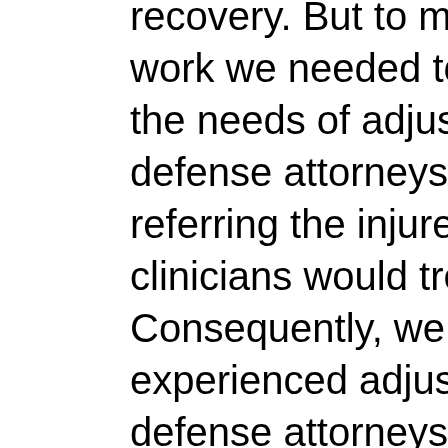recovery. But to make the system work we needed to understand the needs of adjusters and defense attorneys who would be referring the injured workers the clinicians would treat. Consequently, we conferred with experienced adjusters and defense attorneys. After doing so we decided that every referral would begin with a thorough Initial Psychological Evaluation (IPE), which, although not technically an IME, would be done at the IME level (we priced the IPE at $450, and, since nobody's complained, we now think that's too low, but we're sticking with it). If the Initial Psychological Evaluation